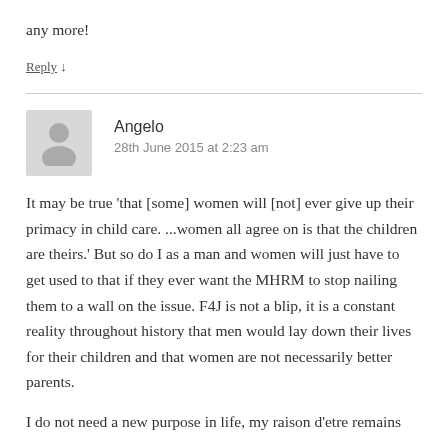any more!
Reply ↓
Angelo
28th June 2015 at 2:23 am
It may be true 'that [some] women will [not] ever give up their primacy in child care. ...women all agree on is that the children are theirs.' But so do I as a man and women will just have to get used to that if they ever want the MHRM to stop nailing them to a wall on the issue. F4J is not a blip, it is a constant reality throughout history that men would lay down their lives for their children and that women are not necessarily better parents.
I do not need a new purpose in life, my raison d'etre remains